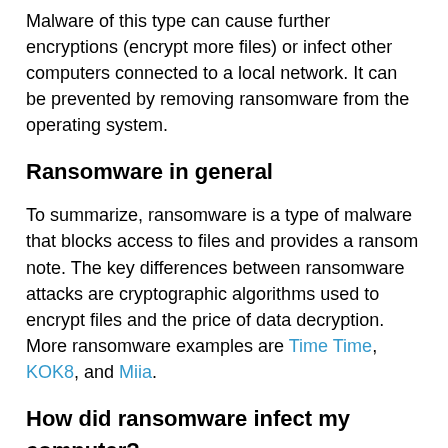Malware of this type can cause further encryptions (encrypt more files) or infect other computers connected to a local network. It can be prevented by removing ransomware from the operating system.
Ransomware in general
To summarize, ransomware is a type of malware that blocks access to files and provides a ransom note. The key differences between ransomware attacks are cryptographic algorithms used to encrypt files and the price of data decryption. More ransomware examples are Time Time, KOK8, and Miia.
How did ransomware infect my computer?
Most cybercriminals use Trojans, emails, untrustworthy sources for downloading files and programs, software cracking tools, and fake software updaters to distribute